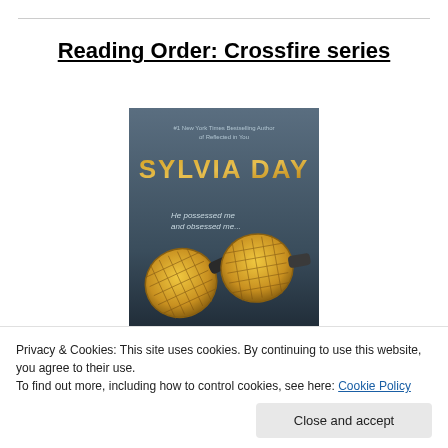Reading Order: Crossfire series
[Figure (photo): Book cover of a Sylvia Day novel from the Crossfire series, showing golden cufflinks on a dark background. Text reads '#1 New York Times Bestselling Author of Reflected in You', 'SYLVIA DAY', 'He possessed me and obsessed me...']
Privacy & Cookies: This site uses cookies. By continuing to use this website, you agree to their use.
To find out more, including how to control cookies, see here: Cookie Policy
Close and accept